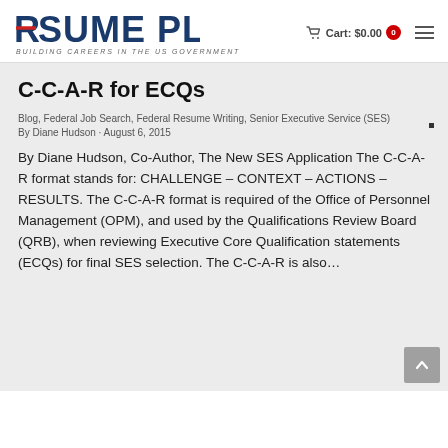RESUME PLACE — BUILDING CAREERS IN THE US GOVERNMENT | Cart: $0.00 (0)
C-C-A-R for ECQs
Blog, Federal Job Search, Federal Resume Writing, Senior Executive Service (SES)
By Diane Hudson · August 6, 2015
By Diane Hudson, Co-Author, The New SES Application The C-C-A-R format stands for: CHALLENGE – CONTEXT – ACTIONS – RESULTS. The C-C-A-R format is required of the Office of Personnel Management (OPM), and used by the Qualifications Review Board (QRB), when reviewing Executive Core Qualification statements (ECQs) for final SES selection. The C-C-A-R is also…